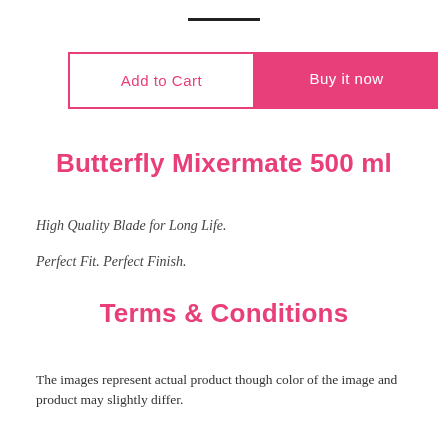[Figure (other): Horizontal black line divider at top of page]
Add to Cart
Buy it now
Butterfly Mixermate 500 ml
High Quality Blade for Long Life.
Perfect Fit. Perfect Finish.
Terms & Conditions
The images represent actual product though color of the image and product may slightly differ.